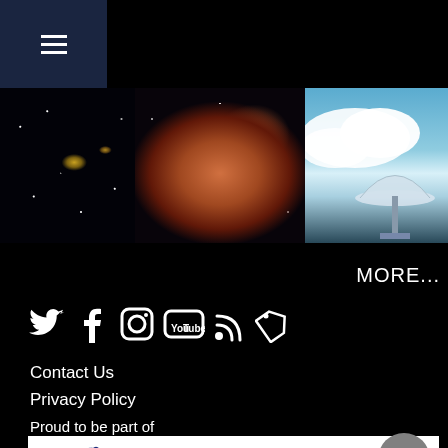[Figure (screenshot): Website footer with hamburger menu icon in dark blue header bar]
[Figure (photo): Three astronomy/telescope images: galaxy in space (left), nebula (center), telescope dish (right)]
MORE...
[Figure (infographic): Social media icons row: Twitter, Facebook, Instagram, YouTube, RSS feed, ticket/tag icon]
Contact Us
Privacy Policy
Proud to be part of
[Figure (logo): Liverpool John Moores University logo with bird/olive branch emblem]